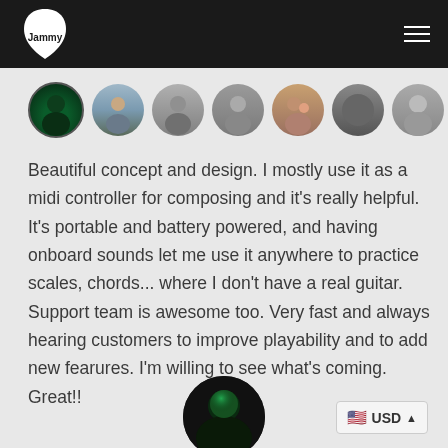Jammy Guitar logo and navigation menu
[Figure (photo): Row of 8 circular user avatar photos]
Beautiful concept and design. I mostly use it as a midi controller for composing and it's really helpful. It's portable and battery powered, and having onboard sounds let me use it anywhere to practice scales, chords... where I don't have a real guitar. Support team is awesome too. Very fast and always hearing customers to improve playability and to add new fearures. I'm willing to see what's coming. Great!!
[Figure (photo): Circular profile photo of reviewer with green lighting]
USD